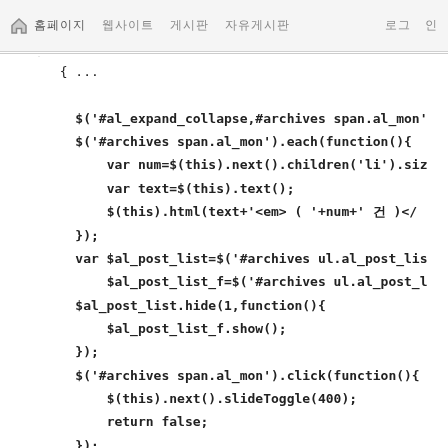🏠 홈페이지  웹사이트  게시판  자유게시판 [nav bar]
[Figure (screenshot): Code editor screenshot showing JavaScript jQuery code snippet with function calls for archive expand/collapse, post list manipulation, and click handlers.]
$('#al_expand_collapse,#archives span.al_mon'
$('#archives span.al_mon').each(function(){
    var num=$(this).next().children('li').siz
    var text=$(this).text();
    $(this).html(text+'<em> ( '+num+' 건 )</
});
var $al_post_list=$('#archives ul.al_post_lis
    $al_post_list_f=$('#archives ul.al_post_l
$al_post_list.hide(1,function(){
    $al_post_list_f.show();
});
$('#archives span.al_mon').click(function(){
    $(this).next().slideToggle(400);
    return false;
});
$('#al_expand_collapse').toggle(function(){